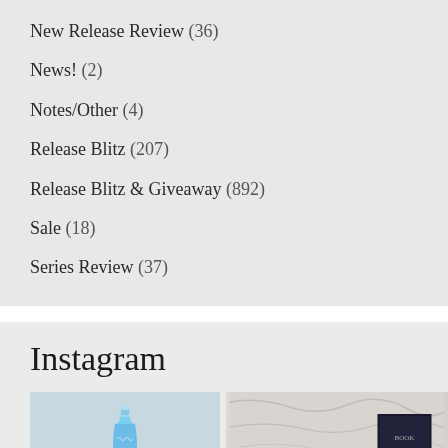New Release Review (36)
News! (2)
Notes/Other (4)
Release Blitz (207)
Release Blitz & Giveaway (892)
Sale (18)
Series Review (37)
Instagram
[Figure (photo): Blue decorative bottle/vase on marble background]
[Figure (photo): Marble background with dark book cover in lower right]